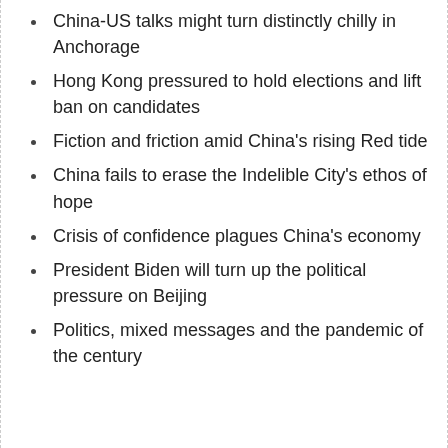China-US talks might turn distinctly chilly in Anchorage
Hong Kong pressured to hold elections and lift ban on candidates
Fiction and friction amid China's rising Red tide
China fails to erase the Indelible City's ethos of hope
Crisis of confidence plagues China's economy
President Biden will turn up the political pressure on Beijing
Politics, mixed messages and the pandemic of the century